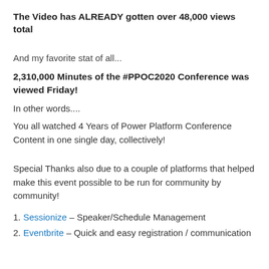The Video has ALREADY gotten over 48,000 views total
And my favorite stat of all...
2,310,000 Minutes of the #PPOC2020 Conference was viewed Friday!
In other words....
You all watched 4 Years of Power Platform Conference Content in one single day, collectively!
Special Thanks also due to a couple of platforms that helped make this event possible to be run for community by community!
1. Sessionize – Speaker/Schedule Management
2. Eventbrite – Quick and easy registration / communication